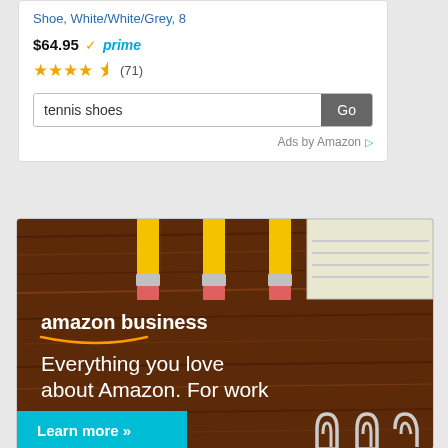Shoe, White/White/Grey, 8
$64.95 prime
★★★★☆ (71)
[Figure (screenshot): Amazon ad search box with 'tennis shoes' query and Go button, followed by 'Ads by Amazon' label]
[Figure (screenshot): Amazon Business banner ad showing pencils on wood background with text 'amazon business - Everything you love about Amazon. For work' and a 'Learn more »' button]